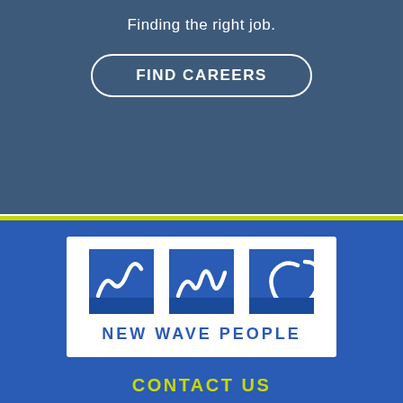Finding the right job.
FIND CAREERS
[Figure (logo): New Wave People logo — three blue squares with white wave/script letterforms for n, w, p, with text NEW WAVE PEOPLE below]
CONTACT US